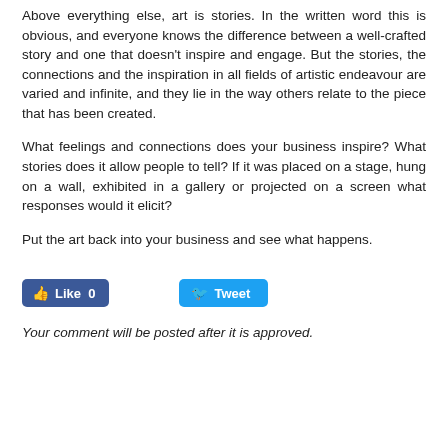Above everything else, art is stories. In the written word this is obvious, and everyone knows the difference between a well-crafted story and one that doesn't inspire and engage. But the stories, the connections and the inspiration in all fields of artistic endeavour are varied and infinite, and they lie in the way others relate to the piece that has been created.
What feelings and connections does your business inspire? What stories does it allow people to tell? If it was placed on a stage, hung on a wall, exhibited in a gallery or projected on a screen what responses would it elicit?
Put the art back into your business and see what happens.
[Figure (other): Social sharing buttons: Facebook Like (0) button and Twitter Tweet button]
Your comment will be posted after it is approved.